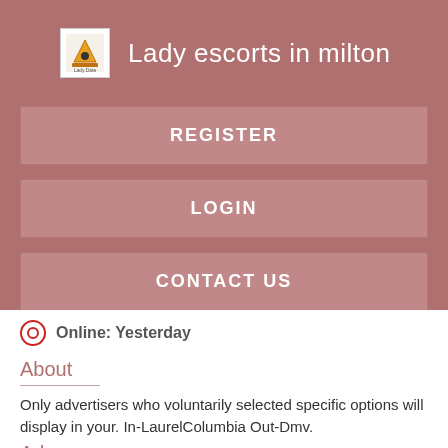Lady escorts in milton
REGISTER
LOGIN
CONTACT US
Online: Yesterday
About
Only advertisers who voluntarily selected specific options will display in your. In-LaurelColumbia Out-Dmv.
Adara